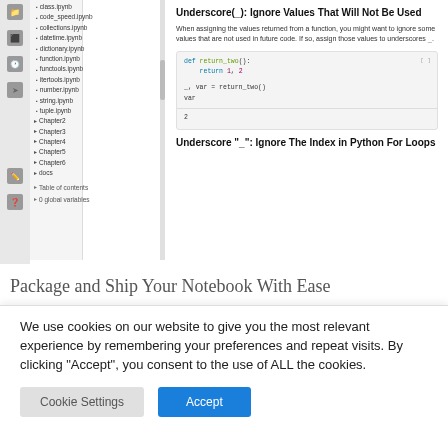class.ipynb
code_speed.ipynb
collections.ipynb
datetime.ipynb
dictionary.ipynb
function.ipynb
functools.ipynb
itertools.ipynb
number.ipynb
string.ipynb
tuple.ipynb
Chapter2
Chapter3
Chapter4
Chapter5
Chapter6
docs
Table of contents
0 global variables
Underscore(_): Ignore Values That Will Not Be Used
When assigning the values returned from a function, you might want to ignore some values that are not used in future code. If so, assign those values to underscores _.
[Figure (screenshot): Code block showing: def return_two(): return 1, 2 / _, var = return_two() / var / Output: 2]
Underscore "_": Ignore The Index in Python For Loops
Package and Ship Your Notebook With Ease
We use cookies on our website to give you the most relevant experience by remembering your preferences and repeat visits. By clicking “Accept”, you consent to the use of ALL the cookies.
Cookie Settings
Accept